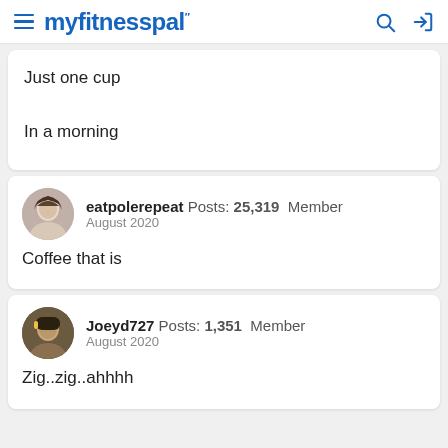myfitnesspal
Just one cup

In a morning
eatpolerepeat  Posts: 25,319  Member
August 2020

Coffee that is
Joeyd727  Posts: 1,351  Member
August 2020

Zig..zig..ahhhh